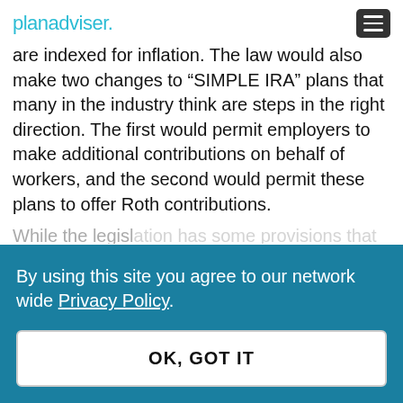planadviser.
are indexed for inflation. The law would also make two changes to “SIMPLE IRA” plans that many in the industry think are steps in the right direction. The first would permit employers to make additional contributions on behalf of workers, and the second would permit these plans to offer Roth contributions.
While the...
By using this site you agree to our network wide Privacy Policy.
OK, GOT IT